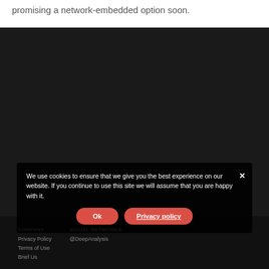promising a network-embedded option soon.
We use cookies to ensure that we give you the best experience on our website. If you continue to use this site we will assume that you are happy with it.
COMPANY | Privacy Policy | Terms of Use | Brief Us | SOCIAL NETWORKS | @DeepAnalysis
Ok
Privacy policy